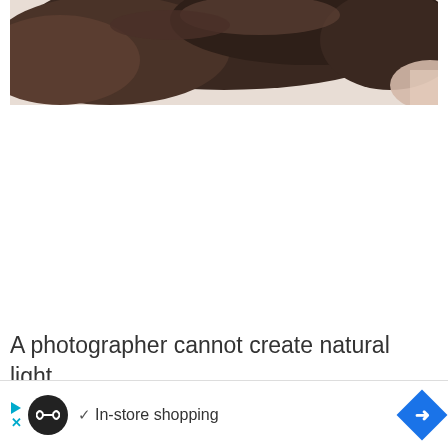[Figure (photo): Close-up photo of a person with dark hair lying down, partially cropped showing hair and part of the face]
A photographer cannot create natural light since that defeats the whole purpose of
"na... ess... a
[Figure (screenshot): Advertisement bar at the bottom showing a black circular logo with infinity symbol, play button, X button, checkmark with 'In-store shopping' text, and a blue diamond-shaped arrow button]